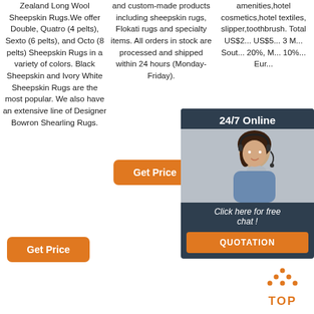Zealand Long Wool Sheepskin Rugs.We offer Double, Quatro (4 pelts), Sexto (6 pelts), and Octo (8 pelts) Sheepskin Rugs in a variety of colors. Black Sheepskin and Ivory White Sheepskin Rugs are the most popular. We also have an extensive line of Designer Bowron Shearling Rugs.
[Figure (other): Orange 'Get Price' button]
and custom-made products including sheepskin rugs, Flokati rugs and specialty items. All orders in stock are processed and shipped within 24 hours (Monday-Friday).
[Figure (other): Orange 'Get Price' button]
amenities,hotel cosmetics,hotel textiles, slipper,toothbrush. Total US$2... US$5... 3 M... Sout... 20%, M... 10%... Eur...
[Figure (other): 24/7 Online chat widget with woman photo, 'Click here for free chat!' text and orange QUOTATION button]
[Figure (other): Orange TOP button with dots icon]